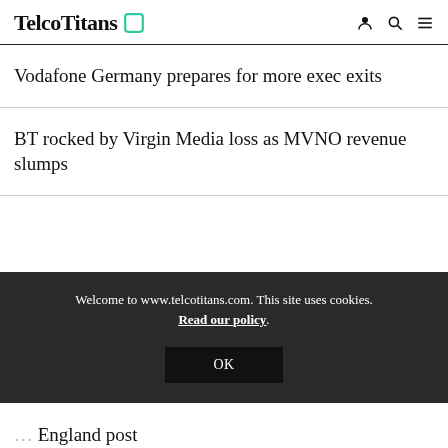TelcoTitans
Vodafone Germany prepares for more exec exits
BT rocked by Virgin Media loss as MVNO revenue slumps
Welcome to www.telcotitans.com. This site uses cookies. Read our policy.
OK
England post